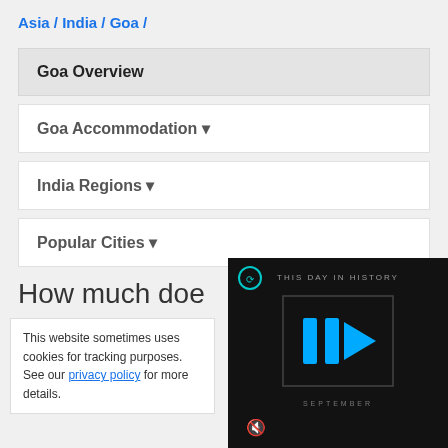Asia / India / Goa /
Goa Overview
Goa Accommodation ▼
India Regions ▼
Popular Cities ▼
How much doe
This website sometimes uses cookies for tracking purposes. See our privacy policy for more details.
[Figure (screenshot): Video player showing THIS DAY IN HISTORY with play button icon and mute icon, dark background]